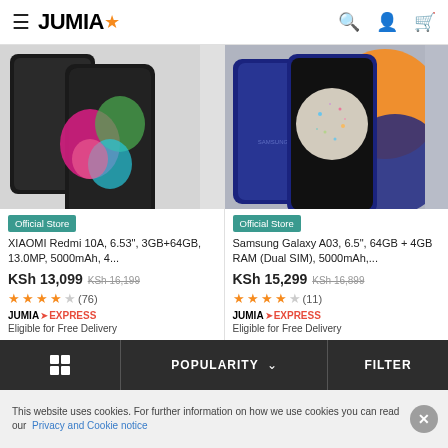JUMIA (logo with star) - search, account, cart icons
[Figure (screenshot): XIAOMI Redmi 10A smartphone product image - two phones showing front and back]
Official Store
XIAOMI Redmi 10A, 6.53", 3GB+64GB, 13.0MP, 5000mAh, 4...
KSh 13,099 KSh 16,199
★★★★☆ (76)
JUMIA EXPRESS - Eligible for Free Delivery
[Figure (screenshot): Samsung Galaxy A03 smartphone product image - two phones showing front and back]
Official Store
Samsung Galaxy A03, 6.5", 64GB + 4GB RAM (Dual SIM), 5000mAh,...
KSh 15,299 KSh 16,899
★★★★☆ (11)
JUMIA EXPRESS - Eligible for Free Delivery
POPULARITY ∨  |  FILTER
This website uses cookies. For further information on how we use cookies you can read our Privacy and Cookie notice